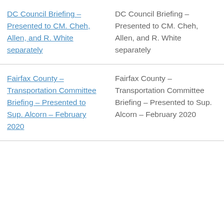| DC Council Briefing – Presented to CM. Cheh, Allen, and R. White separately | DC Council Briefing – Presented to CM. Cheh, Allen, and R. White separately |
| Fairfax County – Transportation Committee Briefing – Presented to Sup. Alcorn – February 2020 | Fairfax County – Transportation Committee Briefing – Presented to Sup. Alcorn – February 2020 |